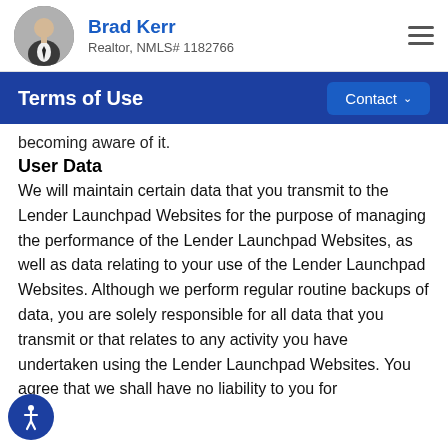Brad Kerr
Realtor, NMLS# 1182766
Terms of Use
becoming aware of it.
User Data
We will maintain certain data that you transmit to the Lender Launchpad Websites for the purpose of managing the performance of the Lender Launchpad Websites, as well as data relating to your use of the Lender Launchpad Websites. Although we perform regular routine backups of data, you are solely responsible for all data that you transmit or that relates to any activity you have undertaken using the Lender Launchpad Websites. You agree that we shall have no liability to you for